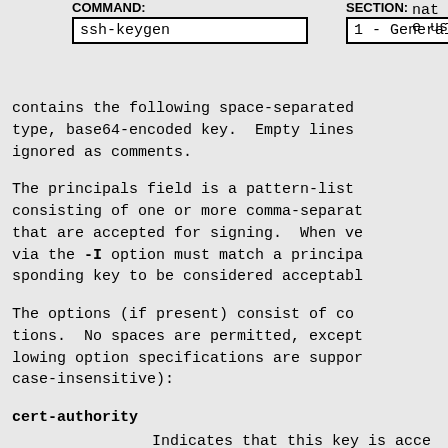COMMAND: ssh-keygen    SECTION: 1 - General Commands
contains the following space-separated type, base64-encoded key.  Empty lines ignored as comments.
The principals field is a pattern-list consisting of one or more comma-separated that are accepted for signing.  When ve via the -I option must match a principal sponding key to be considered acceptable
The options (if present) consist of comma-separated options. No spaces are permitted, except lowing option specifications are supported (case-insensitive):
cert-authority
        Indicates that this key is accepted (CA) and that certificates signed verification.
namespaces=namespace-list
        Specifies a pattern-list of namespaces for key.  If this option is present